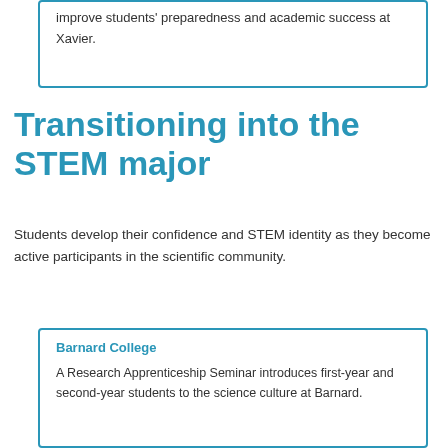improve students' preparedness and academic success at Xavier.
Transitioning into the STEM major
Students develop their confidence and STEM identity as they become active participants in the scientific community.
Barnard College
A Research Apprenticeship Seminar introduces first-year and second-year students to the science culture at Barnard.
Grinnell College
Grinnell focuses attention on second-year students